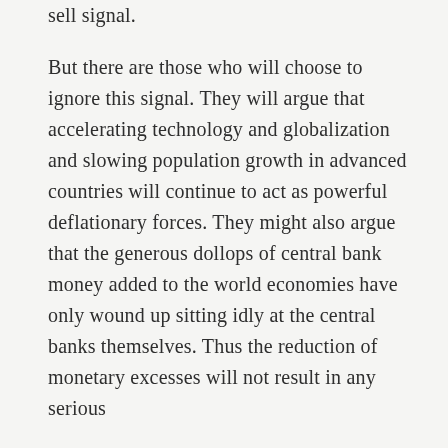sell signal.
But there are those who will choose to ignore this signal. They will argue that accelerating technology and globalization and slowing population growth in advanced countries will continue to act as powerful deflationary forces. They might also argue that the generous dollops of central bank money added to the world economies have only wound up sitting idly at the central banks themselves. Thus the reduction of monetary excesses will not result in any serious